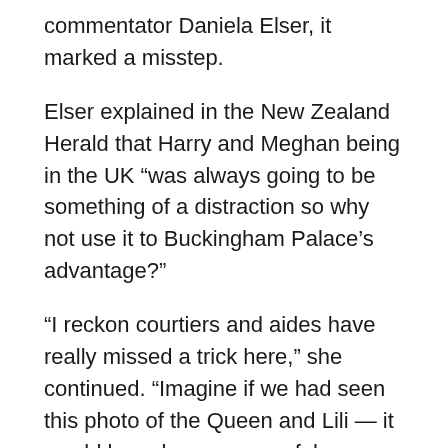commentator Daniela Elser, it marked a misstep.
Elser explained in the New Zealand Herald that Harry and Meghan being in the UK “was always going to be something of a distraction so why not use it to Buckingham Palace’s advantage?”
“I reckon courtiers and aides have really missed a trick here,” she continued. “Imagine if we had seen this photo of the Queen and Lili — it would have been a powerful checkmate on the part of Her Majesty in the PR chess match which the Sussexes seem intent on playing with the Palace.”
Source: Read Full Article